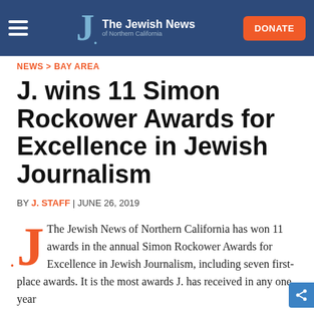The Jewish News of Northern California — DONATE
NEWS > BAY AREA
J. wins 11 Simon Rockower Awards for Excellence in Jewish Journalism
BY J. STAFF | JUNE 26, 2019
The Jewish News of Northern California has won 11 awards in the annual Simon Rockower Awards for Excellence in Jewish Journalism, including seven first-place awards. It is the most awards J. has received in any one year